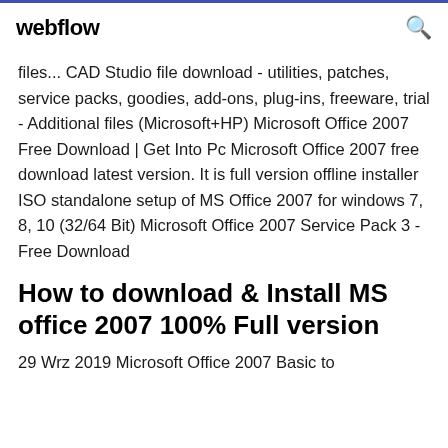webflow
files... CAD Studio file download - utilities, patches, service packs, goodies, add-ons, plug-ins, freeware, trial - Additional files (Microsoft+HP) Microsoft Office 2007 Free Download | Get Into Pc Microsoft Office 2007 free download latest version. It is full version offline installer ISO standalone setup of MS Office 2007 for windows 7, 8, 10 (32/64 Bit) Microsoft Office 2007 Service Pack 3 - Free Download
How to download & Install MS office 2007 100% Full version
29 Wrz 2019 Microsoft Office 2007 Basic to